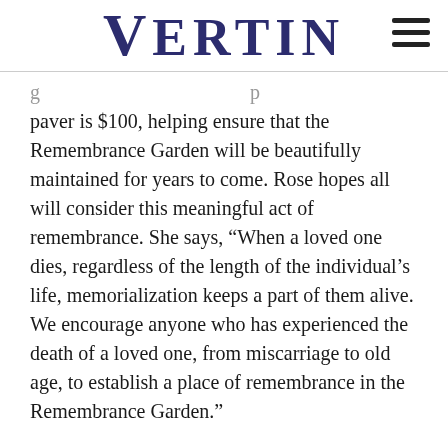VERTIN
paver is $100, helping ensure that the Remembrance Garden will be beautifully maintained for years to come. Rose hopes all will consider this meaningful act of remembrance. She says, “When a loved one dies, regardless of the length of the individual’s life, memorialization keeps a part of them alive. We encourage anyone who has experienced the death of a loved one, from miscarriage to old age, to establish a place of remembrance in the Remembrance Garden.”
In addition to providing an open opportunity for all to enjoy the serene beauty and honor loved ones, the funeral home intends to hold